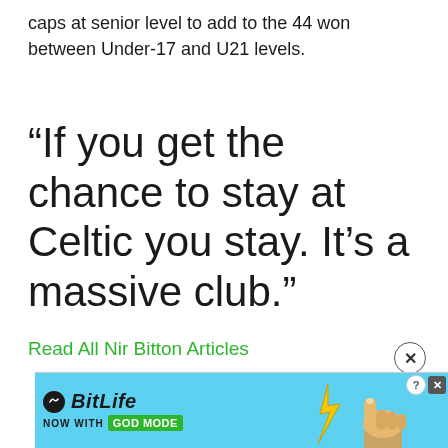caps at senior level to add to the 44 won between Under-17 and U21 levels.
“If you get the chance to stay at Celtic you stay. It’s a massive club.”
Read All Nir Bitton Articles
[Figure (other): Advertisement banner for BitLife game featuring logo, 'Now With GOD MODE' text, and a hand pointing graphic on a light blue background with close/info buttons.]